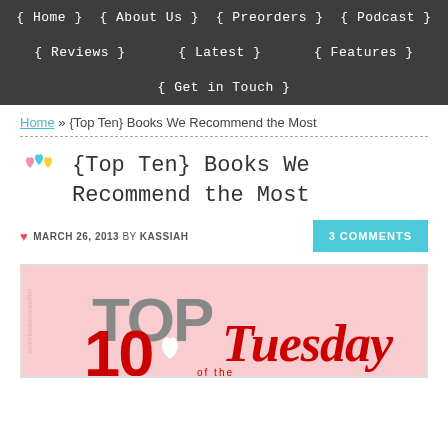{ Home } { About Us } { Preorders } { Podcast } { Reviews } { Latest } { Features } { Get in Touch }
Home » {Top Ten} Books We Recommend the Most
{Top Ten} Books We Recommend the Most
MARCH 26, 2013 BY KASSIAH
3 COMMENTS
[Figure (photo): Top 10 Tuesday blog meme graphic with pink background, bold red and grey 'TOP 10' text and red cursive 'Tuesday' text with heart motif]